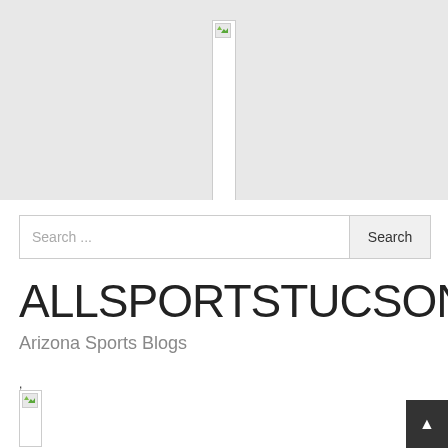[Figure (other): Broken image placeholder — tall narrow vertical strip with broken image icon at top, on gray background]
[Figure (other): Search bar with placeholder text 'Search ...' and a Search button]
ALLSPORTSTUCSON.com
Arizona Sports Blogs
[Figure (other): Small broken image placeholder at bottom left]
[Figure (other): Scroll-to-top button (dark square with upward arrow) at bottom right]